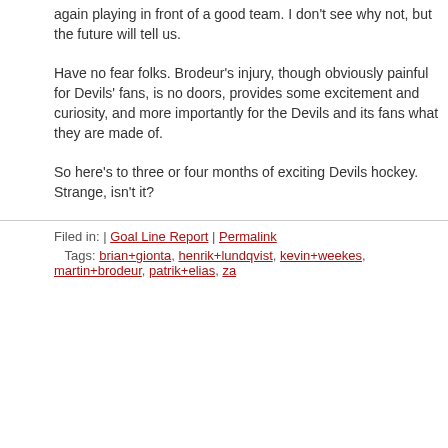again playing in front of a good team. I don't see why not, but the future will tell us.
Have no fear folks. Brodeur's injury, though obviously painful for Devils' fans, is no doors, provides some excitement and curiosity, and more importantly for the Devils and its fans what they are made of.
So here's to three or four months of exciting Devils hockey. Strange, isn't it?
Filed in: | Goal Line Report | Permalink
Tags: brian+gionta, henrik+lundqvist, kevin+weekes, martin+brodeur, patrik+elias, za